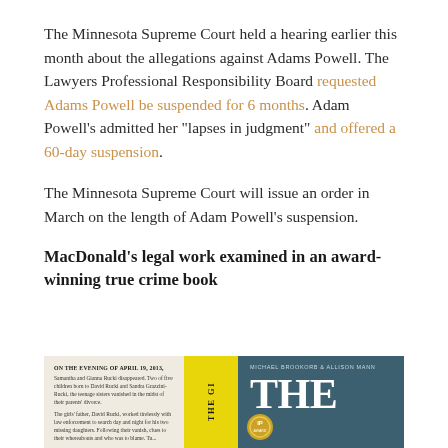The Minnesota Supreme Court held a hearing earlier this month about the allegations against Adams Powell. The Lawyers Professional Responsibility Board requested Adams Powell be suspended for 6 months. Adam Powell's admitted her "lapses in judgment" and offered a 60-day suspension.
The Minnesota Supreme Court will issue an order in March on the length of Adam Powell's suspension.
MacDonald's legal work examined in an award-winning true crime book
[Figure (photo): Book cover image showing a true crime book. Left panel has cream background with text beginning 'ON THE EVENING OF APRIL 19, 2013,'. Middle panel is bright yellow with vertical text 'THE GI...'. Right panel is dark teal/blue with authors 'MICHAEL BROOKORB & ALLISON MANN' and large white letters 'THE' with an IP award medal.]